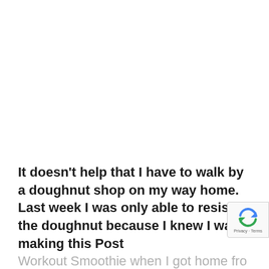It doesn't help that I have to walk by a doughnut shop on my way home.  Last week I was only able to resist the doughnut because I knew I was making this Post Workout Smoothie when I got home fro my workout.  Not that this smoothie is a